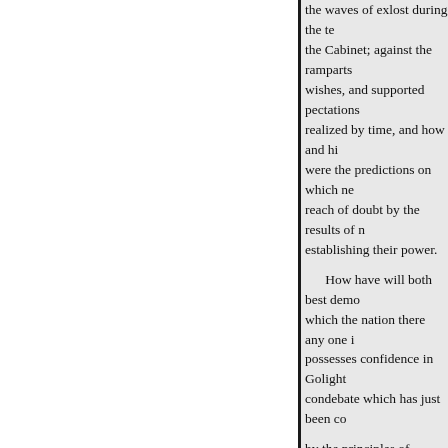the waves of exlost during the te the Cabinet; against the ramparts wishes, and supported pectations realized by time, and how and hi were the predictions on which ne reach of doubt by the results of n establishing their power.

How have will both best demo which the nation there any one i possesses confidence in Golight condebate which has just been co

by the principles of innovation? movement party, at the commenc elected in Great Britain accordin themselves essential to the count

stituencies which they had curio power strated in a country in wh widely really possess the confide community ? Have their own wi representation which they thems